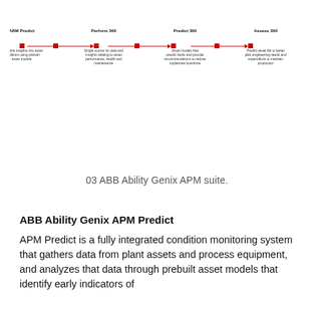[Figure (flowchart): A horizontal flowchart with four steps connected by red arrows: ABM Predict → Perform 360 → Predict 360 → Assess 360. Each node has a small red square and a brief description below the step title.]
03 ABB Ability Genix APM suite.
ABB Ability Genix APM Predict
APM Predict is a fully integrated condition monitoring system that gathers data from plant assets and process equipment, and analyzes that data through prebuilt asset models that identify early indicators of